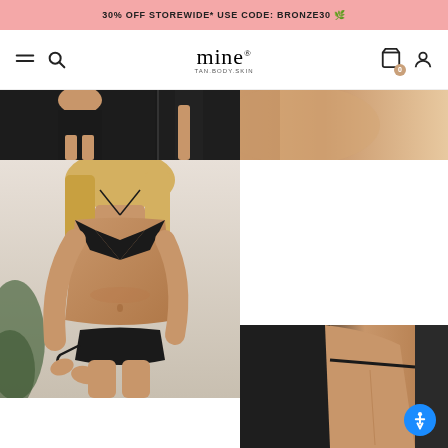30% OFF STOREWIDE* USE CODE: BRONZE30 🌿
[Figure (screenshot): Mine Tan Body Skin website navigation bar with hamburger menu, search icon, logo, cart, and user icons]
[Figure (photo): Cropped image of woman in dark outfit showing midsection and legs]
[Figure (photo): Close-up of tanned skin]
[Figure (photo): Woman in black bikini showing self-tan results, pulling at bikini bottom]
[Figure (photo): Close-up of woman's tanned back in black bikini]